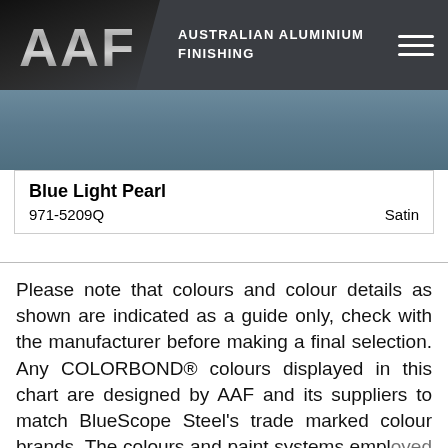AAF AUSTRALIAN ALUMINIUM FINISHING
[Figure (illustration): Blue-grey color swatch banner representing the Blue Light Pearl colour sample]
Blue Light Pearl
971-5209Q   Satin
Please note that colours and colour details as shown are indicated as a guide only, check with the manufacturer before making a final selection. Any COLORBOND® colours displayed in this chart are designed by AAF and its suppliers to match BlueScope Steel's trade marked colour brands. The colours and paint systems employed by AAF are not the same as those used by BlueScope Steel and as such colours may vary. Paints promoted on this website are not endorsed or manufactured by